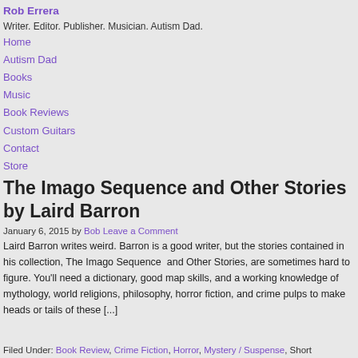Rob Errera
Writer. Editor. Publisher. Musician. Autism Dad.
Home
Autism Dad
Books
Music
Book Reviews
Custom Guitars
Contact
Store
The Imago Sequence and Other Stories by Laird Barron
January 6, 2015 by Bob Leave a Comment
Laird Barron writes weird. Barron is a good writer, but the stories contained in his collection, The Imago Sequence and Other Stories, are sometimes hard to figure. You'll need a dictionary, good map skills, and a working knowledge of mythology, world religions, philosophy, horror fiction, and crime pulps to make heads or tails of these [...]
Filed Under: Book Review, Crime Fiction, Horror, Mystery / Suspense, Short